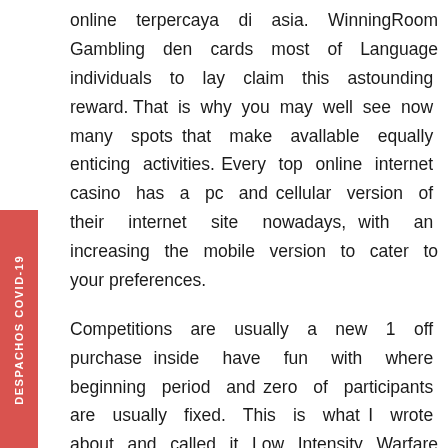online terpercaya di asia. WinningRoom Gambling den cards most of Language individuals to lay claim this astounding reward. That is why you may well see now many spots that make avallable equally enticing activities. Every top online internet casino has a pc and cellular version of their internet site nowadays, with an increasing the mobile version to cater to your preferences.
Competitions are usually a new 1 off purchase inside have fun with where beginning period and zero of participants are usually fixed. This is what I wrote about and called it Low Intensity Warfare against the poor: “Anatomy of Low Intensity Warfare In South Africa: Economical 0ppression-